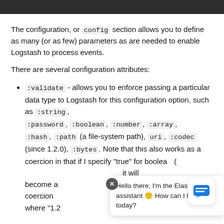The configuration, or config section allows you to define as many (or as few) parameters as are needed to enable Logstash to process events.
There are several configuration attributes:
:validate - allows you to enforce passing a particular data type to Logstash for this configuration option, such as :string, :password, :boolean, :number, :array, :hash, :path (a file-system path), uri, :codec (since 1.2.0), :bytes. Note that this also works as a coercion in that if I specify "true" for boolean( it will become a coercion where "1.2 becomes a float and 11 is an
[Figure (screenshot): Chat assistant popup overlay saying 'Hello there, I'm the Elastic assistant 🙂 How can I help you today?' with a blue chat bubble icon button]